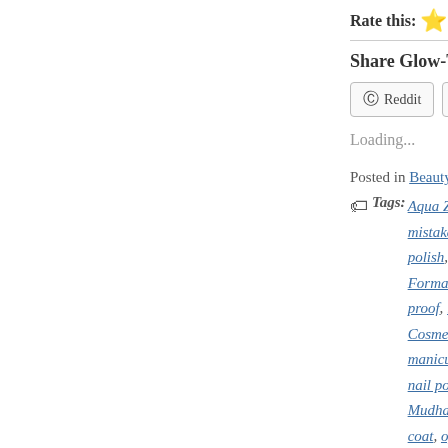Rate this: ★★★★
Share Glow-T!
Reddit | More
Loading...
Posted in Beauty, Fea...
Tags: Aqua Zen, b... mistakes, cushion... polish, fast drying,... Formaldehyde, fre... proof, introduced n... Cosmetics, LAYLA... manicure, Marshm... nail polish, Milan, n... Mudhattan, neon p... coat, opaque, pow... review, shellac ma...